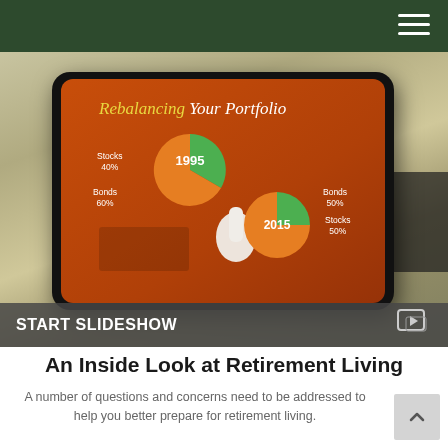[Figure (screenshot): A tablet device displaying an infographic titled 'Rebalancing Your Portfolio' with two pie charts showing portfolio allocation in 1995 (Stocks 40%, Bonds 60%) and 2015 (Stocks 50%, Bonds 50%). A hand points at the screen. The tablet rests on a bag with a camera visible.]
START SLIDESHOW
An Inside Look at Retirement Living
A number of questions and concerns need to be addressed to help you better prepare for retirement living.